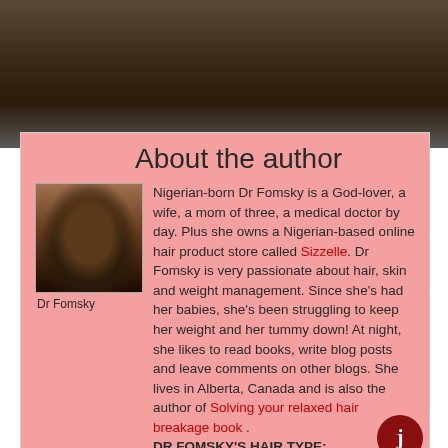[Figure (photo): Top portion of a photo, dark background, person's head partially visible]
About the author
[Figure (photo): Author photo of Dr Fomsky, a woman with short dark hair wearing a black top]
Dr Fomsky
Nigerian-born Dr Fomsky is a God-lover, a wife, a mom of three, a medical doctor by day. Plus she owns a Nigerian-based online hair product store called Sizzelle. Dr Fomsky is very passionate about hair, skin and weight management. Since she's had her babies, she's been struggling to keep her weight and her tummy down! At night, she likes to read books, write blog posts and leave comments on other blogs. She lives in Alberta, Canada and is also the author of Solving your relaxed hair breakage book .
DR FOMSKY'S HAIR TYPE: